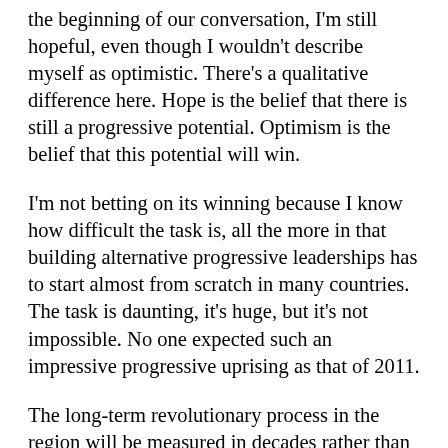the beginning of our conversation, I'm still hopeful, even though I wouldn't describe myself as optimistic. There's a qualitative difference here. Hope is the belief that there is still a progressive potential. Optimism is the belief that this potential will win.
I'm not betting on its winning because I know how difficult the task is, all the more in that building alternative progressive leaderships has to start almost from scratch in many countries. The task is daunting, it's huge, but it's not impossible. No one expected such an impressive progressive uprising as that of 2011.
The long-term revolutionary process in the region will be measured in decades rather than years. From a historical perspective, we are still in its initial stages. This should be a major incentive for intensive action to build progressive movements able to take the lead. The alternative is further descent into barbarism and a general collapse of the regional order into the kind